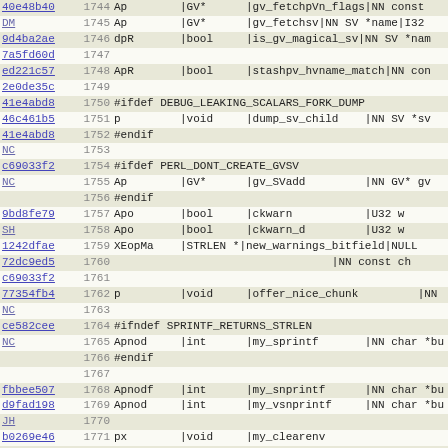| hash | line | code |
| --- | --- | --- |
| 40e48b40 | 1744 | Ap        |GV*      |gv_fetchpVn_flags|NN const |
| DM | 1745 | Ap        |GV*      |gv_fetchsv|NN SV *name|I32 |
| 9d4ba2ae | 1746 | dpR       |bool     |is_gv_magical_sv|NN SV *nam |
| 7a5fd60d | 1747 |  |
| ed221c57 | 1748 | ApR       |bool     |stashpv_hvname_match|NN con |
| 2e0de35c | 1749 |  |
| 41e4abd8 | 1750 | #ifdef DEBUG_LEAKING_SCALARS_FORK_DUMP |
| 46c461b5 | 1751 | p         |void     |dump_sv_child    |NN SV *sv |
| 41e4abd8 | 1752 | #endif |
| NC | 1753 |  |
| c69033f2 | 1754 | #ifdef PERL_DONT_CREATE_GVSV |
| NC | 1755 | Ap        |GV*      |gv_SVadd         |NN GV* gv |
|  | 1756 | #endif |
| 9bd8fe79 | 1757 | Apo       |bool     |ckwarn           |U32 w |
| SH | 1758 | Apo       |bool     |ckwarn_d         |U32 w |
| 1242dfae | 1759 | XEopMa    |STRLEN * |new_warnings_bitfield|NULL |
| 72dc9ed5 | 1760 |                                          |NN const ch |
| c69033f2 | 1761 |  |
| 77354fb4 | 1762 | p         |void     |offer_nice_chunk         |NN |
| NC | 1763 |  |
| ce582cee | 1764 | #ifndef SPRINTF_RETURNS_STRLEN |
| NC | 1765 | Apnod     |int      |my_sprintf       |NN char *bu |
|  | 1766 | #endif |
|  | 1767 |  |
| fbbee507 | 1768 | Apnodf    |int      |my_snprintf      |NN char *bu |
| d9fad198 | 1769 | Apnod     |int      |my_vsnprintf     |NN char *bu |
| JH | 1770 |  |
| b0269e46 | 1771 | px        |void     |my_clearenv |
| AB | 1772 |  |
| f16dd614 | 1773 | #ifdef PERL_IMPLICIT_CONTEXT |
| 53d44271 | 1774 | #ifdef PERL_GLOBAL_STRUCT_PRIVATE |
| JH | 1775 | Apo       |void*    |my_cxt_init      |NN const ch |
|  | 1776 | Apo       |... |